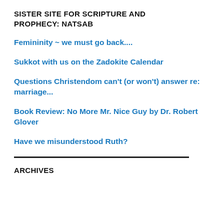SISTER SITE FOR SCRIPTURE AND PROPHECY: NATSAB
Femininity ~ we must go back....
Sukkot with us on the Zadokite Calendar
Questions Christendom can't (or won't) answer re: marriage...
Book Review: No More Mr. Nice Guy by Dr. Robert Glover
Have we misunderstood Ruth?
ARCHIVES